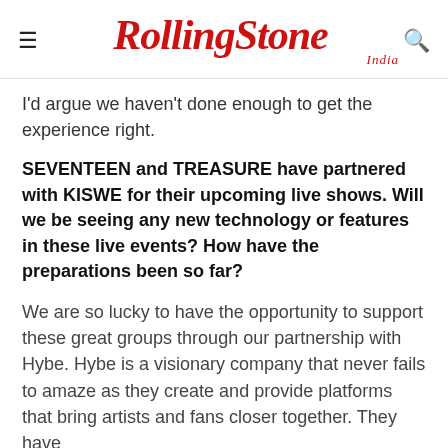Rolling Stone India
I'd argue we haven't done enough to get the experience right.
SEVENTEEN and TREASURE have partnered with KISWE for their upcoming live shows. Will we be seeing any new technology or features in these live events? How have the preparations been so far?
We are so lucky to have the opportunity to support these great groups through our partnership with Hybe. Hybe is a visionary company that never fails to amaze as they create and provide platforms that bring artists and fans closer together. They have